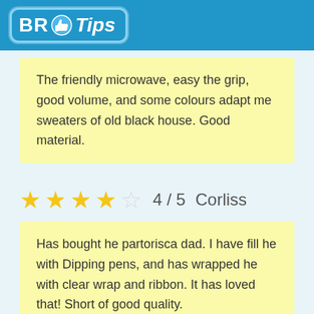BR Tips
The friendly microwave, easy the grip, good volume, and some colours adapt me sweaters of old black house. Good material.
★★★★☆ 4 / 5  Corliss
Has bought he partorisca dad. I have fill he with Dipping pens, and has wrapped he with clear wrap and ribbon. It has loved that! Short of good quality.